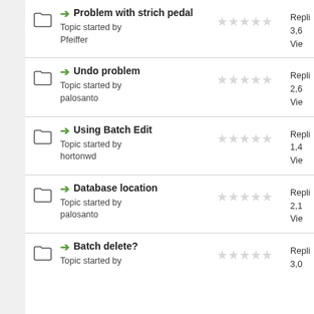Problem with strich pedal — Topic started by Pfeiffer — Repli 3,6 Vie
Undo problem — Topic started by palosanto — Repli 2,6 Vie
Using Batch Edit — Topic started by hortonwd — Repli 1,4 Vie
Database location — Topic started by palosanto — Repli 2,1 Vie
Batch delete? — Topic started by — Repli 3,0